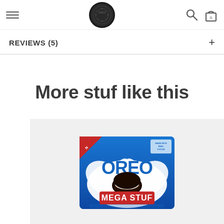OREO website header with hamburger menu, Oreo cookie logo, search icon, and cart icon showing 0
REVIEWS (5)
More stuf like this
[Figure (photo): Oreo Mega Stuf cookie package on light gray background — blue packaging with Oreo logo, MEGA STUF text in red, and a cookie with cream filling surrounded by milk splashes]